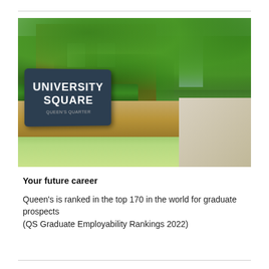[Figure (photo): Outdoor photograph of a university campus scene showing a 'UNIVERSITY SQUARE' street sign in the foreground, with lush green trees, a brick building in the background, a stone wall, and a footpath receding into the distance.]
Your future career
Queen's is ranked in the top 170 in the world for graduate prospects (QS Graduate Employability Rankings 2022)